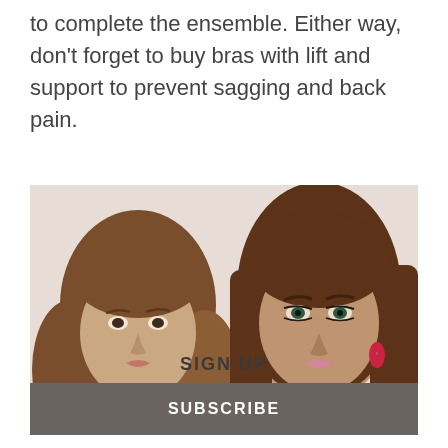to complete the ensemble. Either way, don’t forget to buy bras with lift and support to prevent sagging and back pain.
[Figure (photo): Two women with brown hair posing for a fashion/beauty photo. Left woman has wavy hair and lighter makeup; right woman has straight sleek hair, dramatic makeup, and wearing red drop earrings and a dark top.]
SIGN UP
SUBSCRIBE